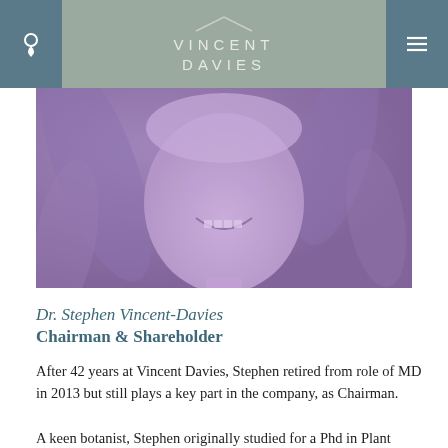VINCENT DAVIES
[Figure (photo): Portrait photo of Dr. Stephen Vincent-Davies with a purple/violet tint overlay, showing a smiling person with tropical plants in the background.]
Dr. Stephen Vincent-Davies
Chairman & Shareholder
After 42 years at Vincent Davies, Stephen retired from role of MD in 2013 but still plays a key part in the company, as Chairman.
A keen botanist, Stephen originally studied for a Phd in Plant Pathology at Bath University before